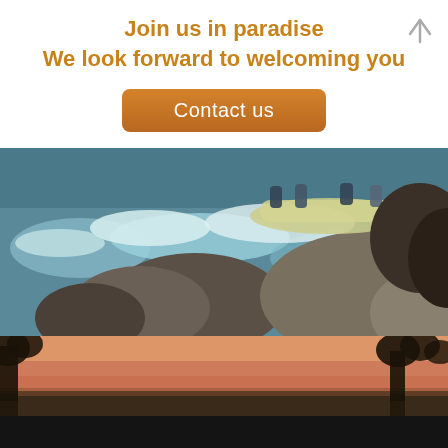Join us in paradise
We look forward to welcoming you
Contact us
[Figure (photo): White water rafting scene with people in an inflatable raft navigating rapids between large rocks]
[Figure (photo): Sunset landscape with silhouetted trees against a pink and orange sky, reflected in water below]
This site uses cookies. By continuing to browse the site, you are agreeing to our use of cookies.
OK
Learn more